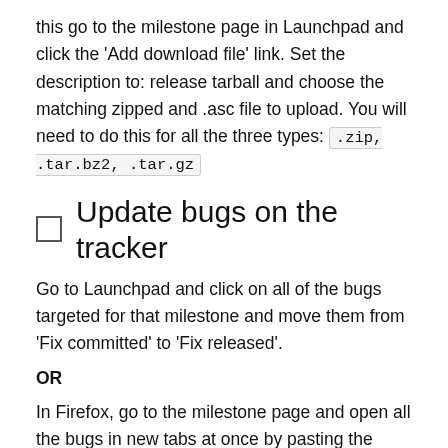this go to the milestone page in Launchpad and click the 'Add download file' link. Set the description to: release tarball and choose the matching zipped and .asc file to upload. You will need to do this for all the three types: .zip, .tar.bz2, .tar.gz
☐ Update bugs on the tracker
Go to Launchpad and click on all of the bugs targeted for that milestone and move them from 'Fix committed' to 'Fix released'.
OR
In Firefox, go to the milestone page and open all the bugs in new tabs at once by pasting the following into the browser console.
var result = document.evaluate("//tbody//tr|